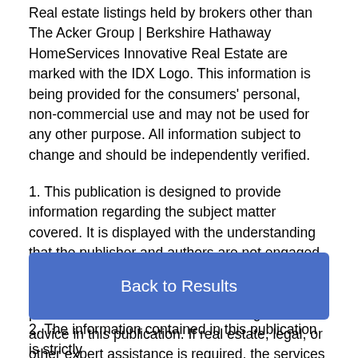Real estate listings held by brokers other than The Acker Group | Berkshire Hathaway HomeServices Innovative Real Estate are marked with the IDX Logo. This information is being provided for the consumers' personal, non-commercial use and may not be used for any other purpose. All information subject to change and should be independently verified.
1. This publication is designed to provide information regarding the subject matter covered. It is displayed with the understanding that the publisher and authors are not engaged in rendering real estate, legal, accounting, tax, or other professional services and that the publisher and authors are not offering such advice in this publication. If real estate, legal, or other expert assistance is required, the services of a competent, professional person should
Back to Results
2. The information contained in this publication is strictly